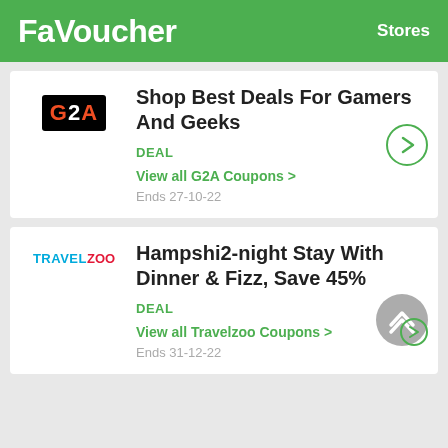FaVoucher  Stores
Shop Best Deals For Gamers And Geeks
DEAL
View all G2A Coupons >
Ends 27-10-22
Hampshi2-night Stay With Dinner & Fizz, Save 45%
DEAL
View all Travelzoo Coupons >
Ends 31-12-22